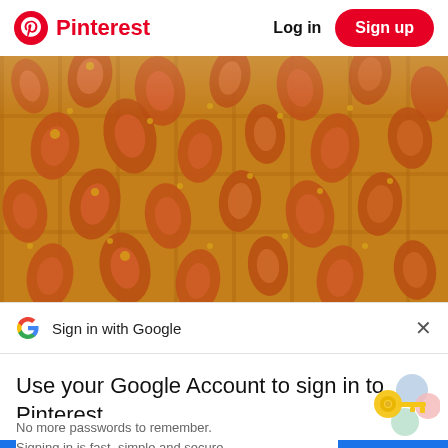Pinterest  Log in  Sign up
[Figure (photo): Close-up photo of orange/amber paisley patterned fabric with red and gold motifs, folded or draped]
Sign in with Google  ×
Use your Google Account to sign in to Pinterest
No more passwords to remember. Signing in is fast, simple and secure.
[Figure (illustration): Google key illustration with colorful circles (blue, red, yellow, green) and a golden key]